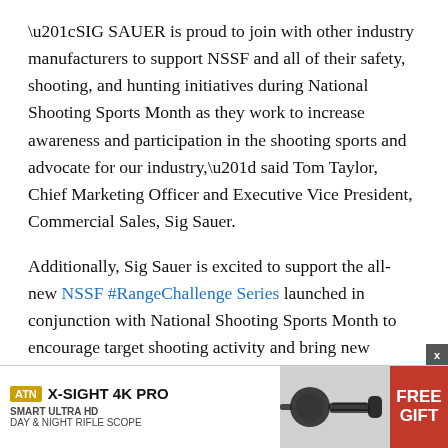“SIG SAUER is proud to join with other industry manufacturers to support NSSF and all of their safety, shooting, and hunting initiatives during National Shooting Sports Month as they work to increase awareness and participation in the shooting sports and advocate for our industry,” said Tom Taylor, Chief Marketing Officer and Executive Vice President, Commercial Sales, Sig Sauer.
Additionally, Sig Sauer is excited to support the all-new NSSF #RangeChallenge Series launched in conjunction with National Shooting Sports Month to encourage target shooting activity and bring new shooters to the range. To support this effort and promote range participation, Sig Sauer Academy has donated [ad overlay] for a Sig S[ad overlay]
[Figure (other): Advertisement banner for ATN X-SIGHT 4K PRO Smart Ultra HD Day and Night Rifle Scope with a FREE GIFT offer. Shows ATN logo, product name, scope image, and red FREE GIFT panel. Has an X close button.]